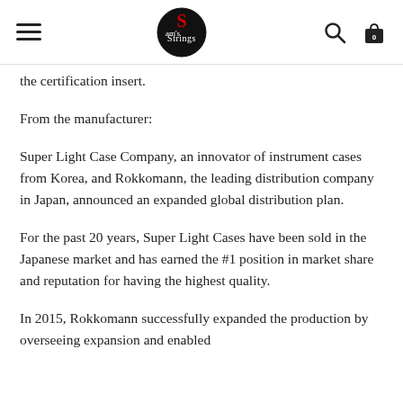Sam's Strings
the certification insert.
From the manufacturer:
Super Light Case Company, an innovator of instrument cases from Korea, and Rokkomann, the leading distribution company in Japan, announced an expanded global distribution plan.
For the past 20 years, Super Light Cases have been sold in the Japanese market and has earned the #1 position in market share and reputation for having the highest quality.
In 2015, Rokkomann successfully expanded the production by overseeing expansion and enabled